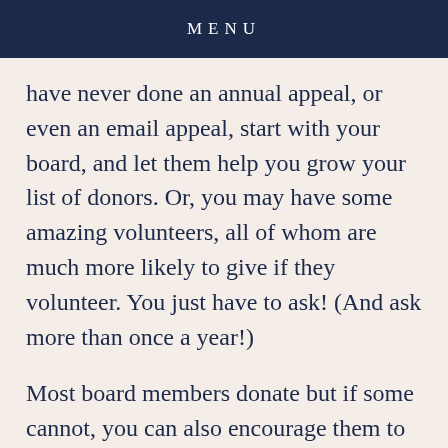MENU
have never done an annual appeal, or even an email appeal, start with your board, and let them help you grow your list of donors. Or, you may have some amazing volunteers, all of whom are much more likely to give if they volunteer. You just have to ask! (And ask more than once a year!)
Most board members donate but if some cannot, you can also encourage them to